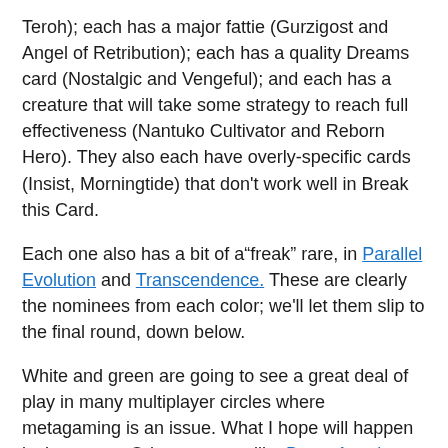Teroh); each has a major fattie (Gurzigost and Angel of Retribution); each has a quality Dreams card (Nostalgic and Vengeful); and each has a creature that will take some strategy to reach full effectiveness (Nantuko Cultivator and Reborn Hero). They also each have overly-specific cards (Insist, Morningtide) that don't work well in Break this Card.
Each one also has a bit of a"freak" rare, in Parallel Evolution and Transcendence. These are clearly the nominees from each color; we'll let them slip to the final round, down below.
White and green are going to see a great deal of play in many multiplayer circles where metagaming is an issue. What I hope will happen is that recent Odyssey gems like Beast Attack won't be forgotten – with Nostalgic Dreams, Beast Attack can actually be cast three times. And Hypochondria just adds a ton to a deck that already has [link cut off]